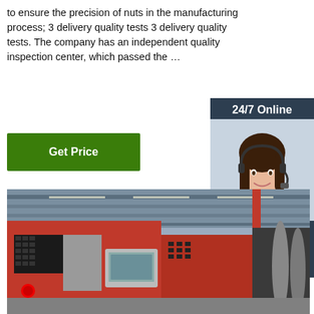to ensure the precision of nuts in the manufacturing process; 3 delivery quality tests 3 delivery quality tests. The company has an independent quality inspection center, which passed the …
Get Price
24/7 Online
[Figure (photo): Customer service representative wearing headset, smiling, used for online chat widget]
Click here for free chat !
QUOTATION
[Figure (photo): Industrial manufacturing facility interior showing red CNC lathe machines with control panels in a large factory hall]